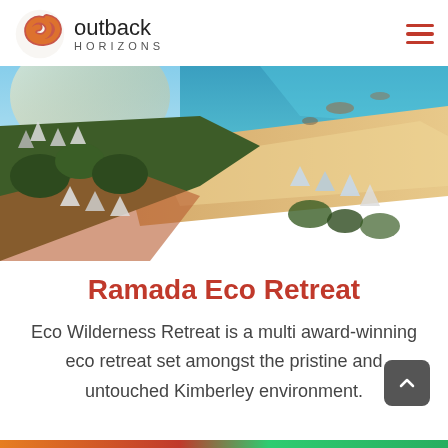outback HORIZONS
[Figure (photo): Aerial view of an eco retreat with glamping tents nestled among trees along a sandy shoreline with turquoise ocean water visible]
Ramada Eco Retreat
Eco Wilderness Retreat is a multi award-winning eco retreat set amongst the pristine and untouched Kimberley environment.